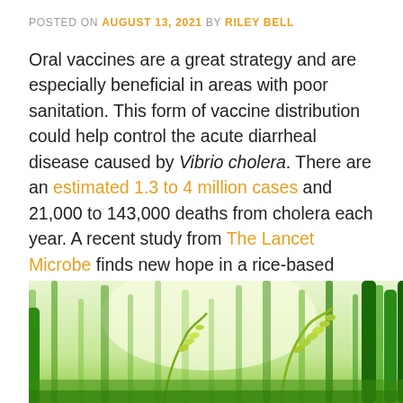POSTED ON AUGUST 13, 2021 BY RILEY BELL
Oral vaccines are a great strategy and are especially beneficial in areas with poor sanitation. This form of vaccine distribution could help control the acute diarrheal disease caused by Vibrio cholera. There are an estimated 1.3 to 4 million cases and 21,000 to 143,000 deaths from cholera each year. A recent study from The Lancet Microbe finds new hope in a rice-based cholera vaccine that will fight against the diarrheal toxin without severe adverse events.
[Figure (photo): Close-up photograph of green rice plants with rice grains on stalks against a bright background]